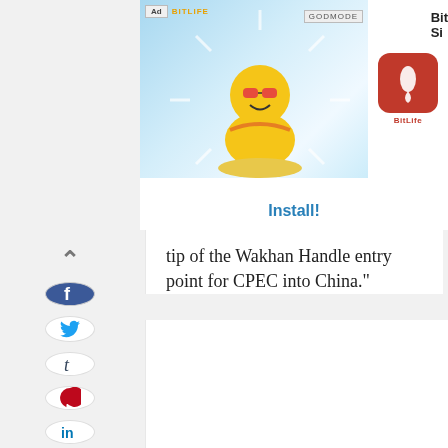[Figure (screenshot): Advertisement banner showing a BitLife mobile game ad with animated character and install button]
tip of the Wakhan Handle entry point for CPEC into China."
[Figure (infographic): Social media share buttons sidebar: chevron up, Facebook, Twitter, Tumblr, Pinterest, LinkedIn, Email, WhatsApp]